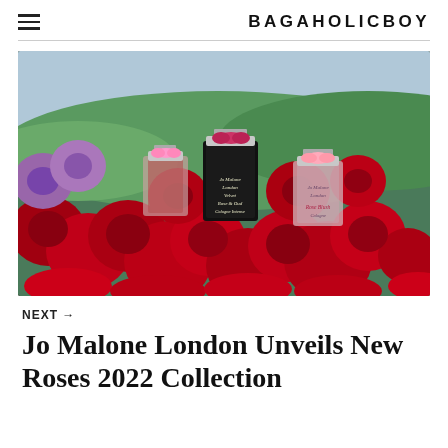BAGAHOLICBOY
[Figure (photo): Jo Malone London fragrance bottles (Velvet Rose & Oud and Rose Blush Cologne Intense) surrounded by red and purple roses with green rolling hills in the background]
NEXT →
Jo Malone London Unveils New Roses 2022 Collection